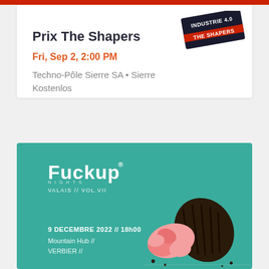[Figure (logo): Industrie 4.0 / The Shapers logo in top-right of first card]
Prix The Shapers
Fri, Sep 2, 2:00 PM
Techno-Pôle Sierre SA • Sierre
Kostenlos
[Figure (illustration): Fuckup Nights Valais Vol.VII promotional banner with teal background, logo, date 9 DECEMBRE 2022 // 18h00, Mountain Hub // VERBIER //, and a fallen cupcake photo]